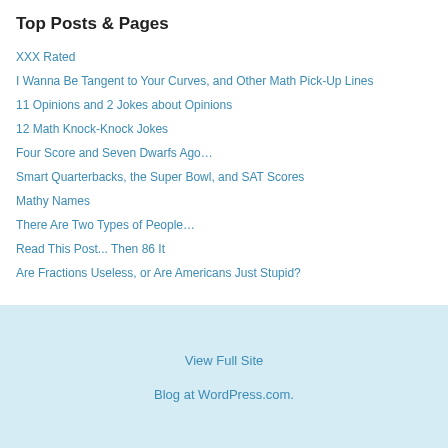Top Posts & Pages
XXX Rated
I Wanna Be Tangent to Your Curves, and Other Math Pick-Up Lines
11 Opinions and 2 Jokes about Opinions
12 Math Knock-Knock Jokes
Four Score and Seven Dwarfs Ago…
Smart Quarterbacks, the Super Bowl, and SAT Scores
Mathy Names
There Are Two Types of People…
Read This Post... Then 86 It
Are Fractions Useless, or Are Americans Just Stupid?
View Full Site
Blog at WordPress.com.